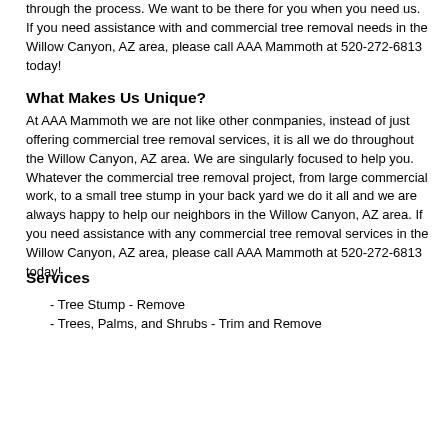through the process. We want to be there for you when you need us. If you need assistance with and commercial tree removal needs in the Willow Canyon, AZ area, please call AAA Mammoth at 520-272-6813 today!
What Makes Us Unique?
At AAA Mammoth we are not like other conmpanies, instead of just offering commercial tree removal services, it is all we do throughout the Willow Canyon, AZ area. We are singularly focused to help you. Whatever the commercial tree removal project, from large commercial work, to a small tree stump in your back yard we do it all and we are always happy to help our neighbors in the Willow Canyon, AZ area. If you need assistance with any commercial tree removal services in the Willow Canyon, AZ area, please call AAA Mammoth at 520-272-6813 today!
Services
- Tree Stump - Remove
- Trees, Palms, and Shrubs - Trim and Remove